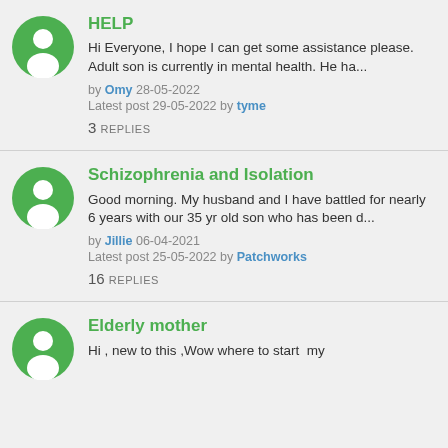HELP
Hi Everyone, I hope I can get some assistance please. Adult son is currently in mental health. He ha...
by Omy 28-05-2022
Latest post 29-05-2022 by tyme
3 REPLIES
Schizophrenia and Isolation
Good morning. My husband and I have battled for nearly 6 years with our 35 yr old son who has been d...
by Jillie 06-04-2021
Latest post 25-05-2022 by Patchworks
16 REPLIES
Elderly mother
Hi , new to this ,Wow where to start  my